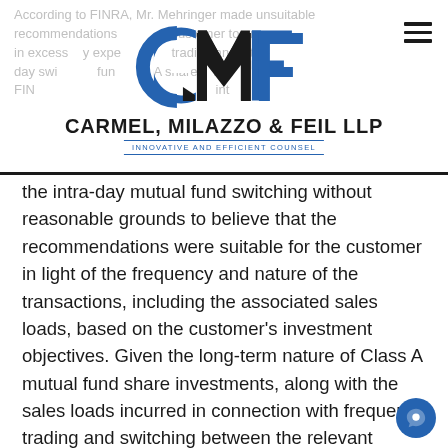CMF CARMEL, MILAZZO & FEIL LLP — INNOVATIVE AND EFFICIENT COUNSEL
the intra-day mutual fund switching without reasonable grounds to believe that the recommendations were suitable for the customer in light of the frequency and nature of the transactions, including the associated sales loads, based on the customer's investment objectives. Given the long-term nature of Class A mutual fund share investments, along with the sales loads incurred in connection with frequent trading and switching between the relevant mutual funds and mutual fund families, Mehringer's short-term trading and switching was also unsuitable for any customer. Mehringer received $169,735 in commissions from